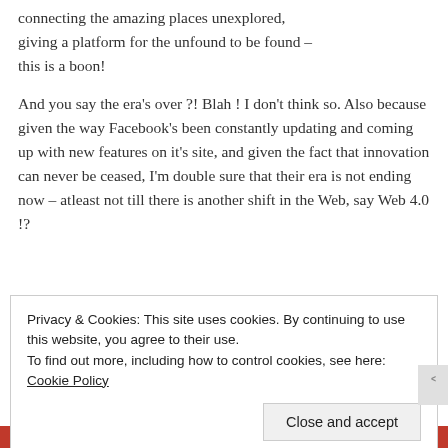connecting the amazing places unexplored, giving a platform for the unfound to be found – this is a boon!
And you say the era's over?! Blah! I don't think so. Also because given the way Facebook's been constantly updating and coming up with new features on it's site, and given the fact that innovation can never be ceased, I'm double sure that their era is not ending now – atleast not till there is another shift in the Web, say Web 4.0!?
Privacy & Cookies: This site uses cookies. By continuing to use this website, you agree to their use.
To find out more, including how to control cookies, see here: Cookie Policy
Close and accept